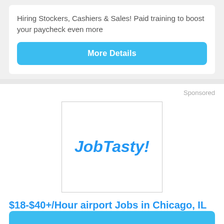Hiring Stockers, Cashiers & Sales! Paid training to boost your paycheck even more
More Details
[Figure (logo): JobTasty! logo in bold italic blue text inside a white bordered box]
Sponsored
$18-$40+/Hour airport Jobs in Chicago, IL (Apply Now)
InterviewingNow.MyJobHelper.com
No Experience Required. Open Chicago airport positions. Will train Entry Level Positions.